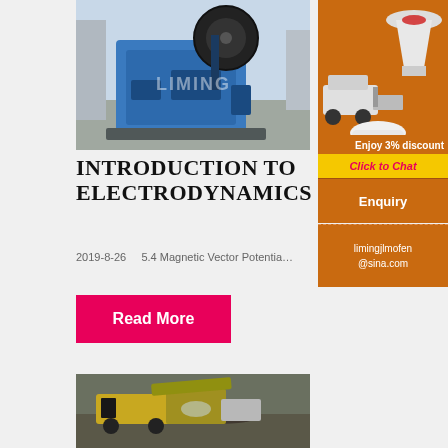[Figure (photo): Blue industrial jaw crusher machine in a factory/warehouse setting, with a large black flywheel visible, watermark 'LIMING' on the machine.]
INTRODUCTION TO ELECTRODYNAMICS
2019-8-26    5.4 Magnetic Vector Potentia…
[Figure (infographic): Orange advertisement banner showing multiple industrial crushing machines (cone crusher, mobile crusher, mill). Text: 'Enjoy 3% discount' and 'Click to Chat' in yellow/pink.]
Read More
Enquiry
limingjlmofen@sina.com
[Figure (photo): Industrial machinery (possibly a crusher or excavator) working in a rocky/muddy outdoor setting.]